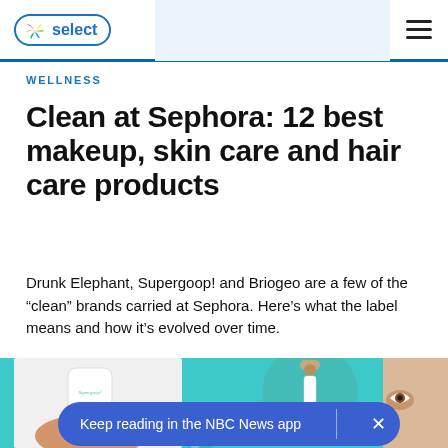NBC Select
WELLNESS
Clean at Sephora: 12 best makeup, skin care and hair care products
Drunk Elephant, Supergoop! and Briogeo are a few of the “clean” brands carried at Sephora. Here’s what the label means and how it’s evolved over time.
[Figure (photo): Product image featuring Supergoop sunscreen, ILIA dropper bottle, and a person applying skincare, on a teal background]
Keep reading in the NBC News app